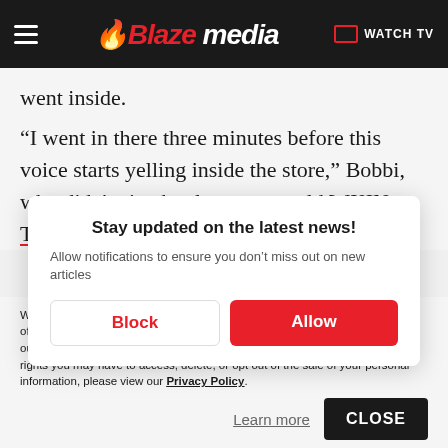Blaze media — WATCH TV
went inside.
“I went in there three minutes before this voice starts yelling inside the store,” Bobbi, who didn't give her last name, told WXIN-TV.
Stay updated on the latest news!
Allow notifications to ensure you don’t miss out on new articles
Block | Allow
We use cookies to better understand website visitors, for advertising, and to offer you a better experience. For more information about our use of cookies, our collection, use, and disclosure of personal information generally, and any rights you may have to access, delete, or opt out of the sale of your personal information, please view our Privacy Policy.
Learn more | CLOSE